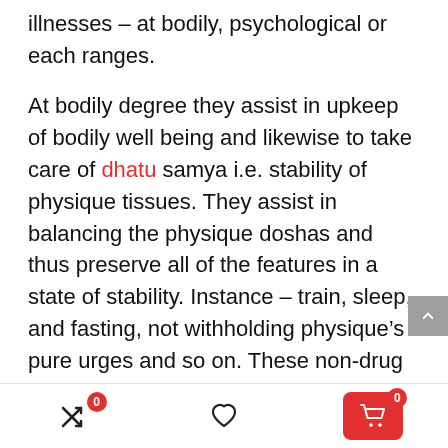illnesses – at bodily, psychological or each ranges.
At bodily degree they assist in upkeep of bodily well being and likewise to take care of dhatu samya i.e. stability of physique tissues. They assist in balancing the physique doshas and thus preserve all of the features in a state of stability. Instance – train, sleep, and fasting, not withholding physique's pure urges and so on. These non-drug therapies that are primarily carried out for upkeep of psychological well being helps in enhancing the sattva attribute of the thoughts and stability imbalanced rajas and tamas attributes on the similar time. This helps in prevention and remedy of varied psychological
[Figure (other): Mobile app bottom navigation bar with shuffle icon (badge 0), heart/wishlist icon, and shopping cart button (badge 0) in red]